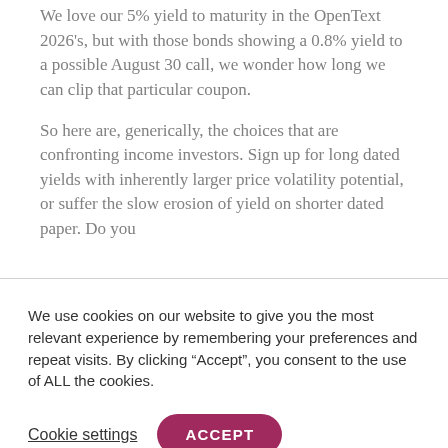We love our 5% yield to maturity in the OpenText 2026's, but with those bonds showing a 0.8% yield to a possible August 30 call, we wonder how long we can clip that particular coupon.
So here are, generically, the choices that are confronting income investors. Sign up for long dated yields with inherently larger price volatility potential, or suffer the slow erosion of yield on shorter dated paper. Do you
We use cookies on our website to give you the most relevant experience by remembering your preferences and repeat visits. By clicking “Accept”, you consent to the use of ALL the cookies.
Cookie settings
ACCEPT